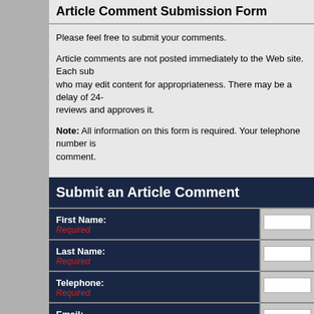Article Comment Submission Form
Please feel free to submit your comments.
Article comments are not posted immediately to the Web site. Each sub who may edit content for appropriateness. There may be a delay of 24- reviews and approves it.
Note: All information on this form is required. Your telephone number is comment.
Submit an Article Comment
| Field | Input |
| --- | --- |
| First Name: Required |  |
| Last Name: Required |  |
| Telephone: Required |  |
| Email: Required |  |
| Comment: Required |  |